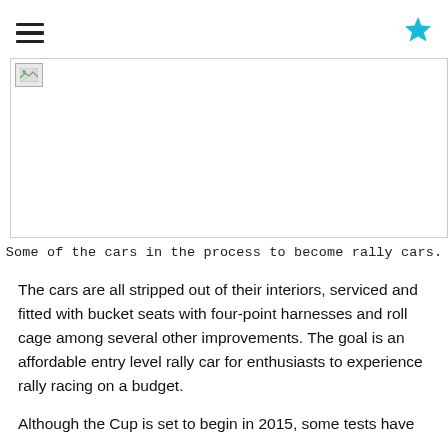☰ ★
[Figure (photo): A broken/unloaded image placeholder showing a small broken image icon in the top-left corner of a bordered image area. Caption: Some of the cars in the process to become rally cars.]
Some of the cars in the process to become rally cars.
The cars are all stripped out of their interiors, serviced and fitted with bucket seats with four-point harnesses and roll cage among several other improvements. The goal is an affordable entry level rally car for enthusiasts to experience rally racing on a budget.
Although the Cup is set to begin in 2015, some tests have